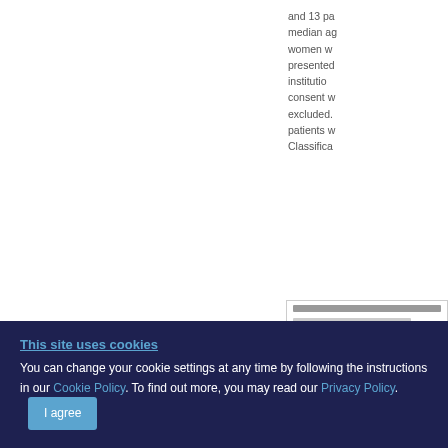and 13 pa median ag women w presented institution consent w excluded. patients w Classifica
[Figure (table-as-image): Partial view of a data table, showing rows with gray bars representing text and values, partially cropped at right edge of page.]
This site uses cookies
You can change your cookie settings at any time by following the instructions in our Cookie Policy. To find out more, you may read our Privacy Policy. I agree